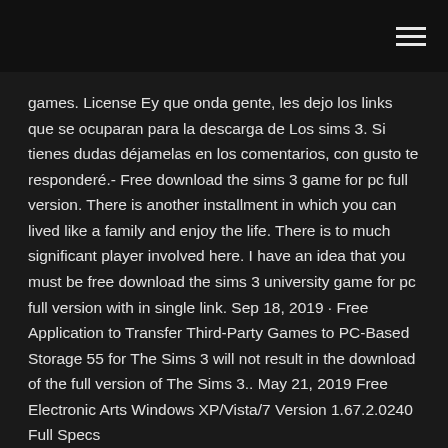games. License Ey que onda gente, les dejo los links que se ocuparan para la descarga de Los sims 3. Si tienes dudas déjamelas en los comentarios, con gusto te responderé.- Free download the sims 3 game for pc full version. There is another installment in which you can lived like a family and enjoy the life. There is to much significant player involved here. I have an idea that you must be free download the sims 3 university game for pc full version with in single link. Sep 18, 2019 · Free Application to Transfer Third-Party Games to PC-Based Storage 55 for The Sims 3 will not result in the download of the full version of The Sims 3.. May 21, 2019 Free Electronic Arts Windows XP/Vista/7 Version 1.67.2.0240 Full Specs